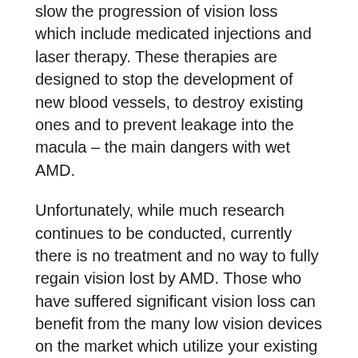slow the progression of vision loss which include medicated injections and laser therapy. These therapies are designed to stop the development of new blood vessels, to destroy existing ones and to prevent leakage into the macula – the main dangers with wet AMD.
Unfortunately, while much research continues to be conducted, currently there is no treatment and no way to fully regain vision lost by AMD. Those who have suffered significant vision loss can benefit from the many low vision devices on the market which utilize your existing vision to assist in maintaining your independence. Such devices include standing and hand-held magnifiers and telescopes and other aides that can help to improve your vision.
If you have been diagnosed with AMD, regular vision tests are essential. Close monitoring and adherence to treatment can not only prevent further vision